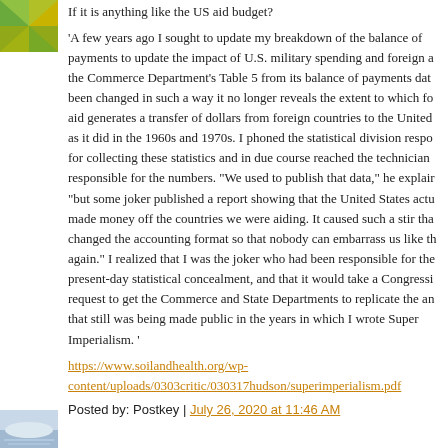[Figure (illustration): Green and yellow decorative avatar/icon image in top left corner]
If it is anything like the US aid budget?
'A few years ago I sought to update my breakdown of the balance of payments to update the impact of U.S. military spending and foreign a... the Commerce Department's Table 5 from its balance of payments dat... been changed in such a way it no longer reveals the extent to which fo... aid generates a transfer of dollars from foreign countries to the United ... as it did in the 1960s and 1970s. I phoned the statistical division respo... for collecting these statistics and in due course reached the technician ... responsible for the numbers. "We used to publish that data," he explair... "but some joker published a report showing that the United States actu... made money off the countries we were aiding. It caused such a stir tha... changed the accounting format so that nobody can embarrass us like th... again." I realized that I was the joker who had been responsible for the... present-day statistical concealment, and that it would take a Congressi... request to get the Commerce and State Departments to replicate the an... that still was being made public in the years in which I wrote Super Imperialism. '
https://www.soilandhealth.org/wp-content/uploads/0303critic/030317hudson/superimperialism.pdf
Posted by: Postkey | July 26, 2020 at 11:46 AM
[Figure (illustration): Blue and white decorative avatar/icon image at bottom left corner]